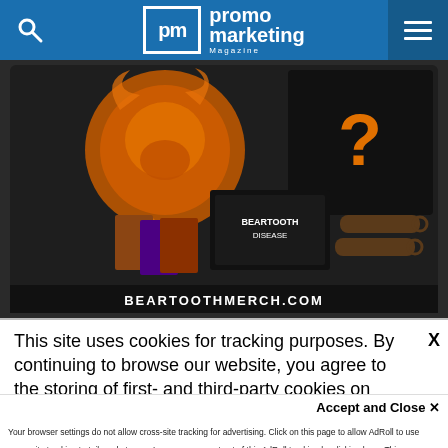promo marketing Magazine
[Figure (photo): Beartooth Disease merchandise bundle including t-shirt with orange graphic design, black long-sleeve shirt with orange question mark, album/item with 'Beartooth Disease' text, playing cards, and bottle openers on a dark background with BEARTOOTHMERCH.COM text]
This site uses cookies for tracking purposes. By continuing to browse our website, you agree to the storing of first- and third-party cookies on your device to enhance site navigation, analyze site usage, and assist in our marketing and
Accept and Close ✕
Your browser settings do not allow cross-site tracking for advertising. Click on this page to allow AdRoll to use cross-site tracking to tailor ads to you. Learn more or opt out of this AdRoll tracking by clicking here. This message only appears once.